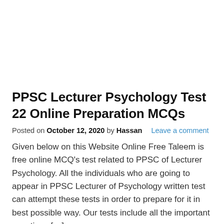PPSC Lecturer Psychology Test 22 Online Preparation MCQs
Posted on October 12, 2020 by Hassan   Leave a comment
Given below on this Website Online Free Taleem is free online MCQ's test related to PPSC of Lecturer Psychology. All the individuals who are going to appear in PPSC Lecturer of Psychology written test can attempt these tests in order to prepare for it in best possible way. Our tests include all the important questions […]
Continue reading…